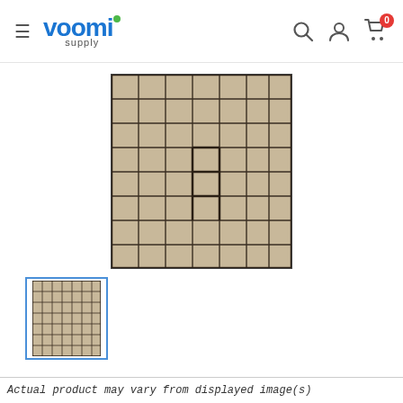voomi supply — navigation header with hamburger menu, search, account, and cart icons
[Figure (photo): Main product image: a grid-panel filter or tray with approximately 7 columns x 8 rows of square cells, dark metal frame, tan/beige mesh material, viewed slightly from angle]
[Figure (photo): Thumbnail image of the same grid-panel product, selected/active (blue border)]
Actual product may vary from displayed image(s)